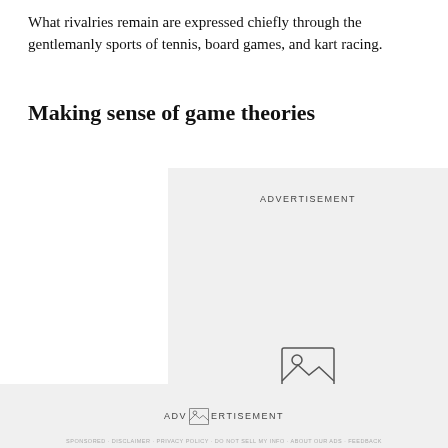What rivalries remain are expressed chiefly through the gentlemanly sports of tennis, board games, and kart racing.
Making sense of game theories
[Figure (other): Advertisement placeholder box with image icon and ADVERTISEMENT label]
[Figure (other): Second advertisement placeholder box with image icon and ADVERTISEMENT label at bottom of page]